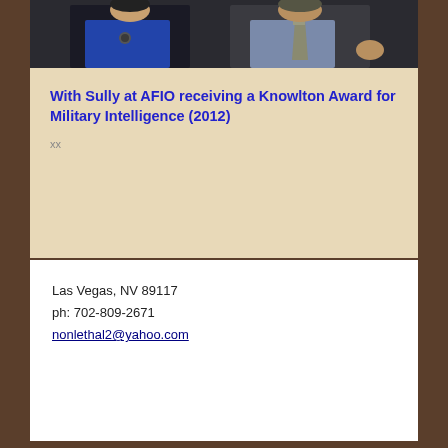[Figure (photo): Two people photographed together, one wearing a blue shirt with a medal, the other in a dark jacket with a tie]
With Sully at AFIO receiving a Knowlton Award for Military Intelligence (2012)
xx
Las Vegas, NV 89117
ph: 702-809-2671
nonlethal2@yahoo.com